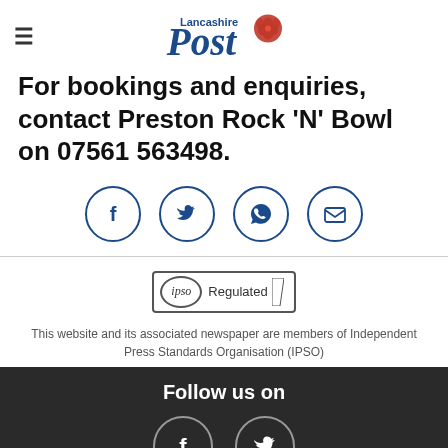Lancashire Post
For bookings and enquiries, contact Preston Rock 'N' Bowl on 07561 563498.
[Figure (other): Social share icons: Facebook, Twitter, WhatsApp, Email — blue outlined circles]
[Figure (logo): IPSO Regulated badge]
This website and its associated newspaper are members of Independent Press Standards Organisation (IPSO)
Follow us on
[Figure (other): Footer social icons: Facebook and Twitter in dark circles]
Explore